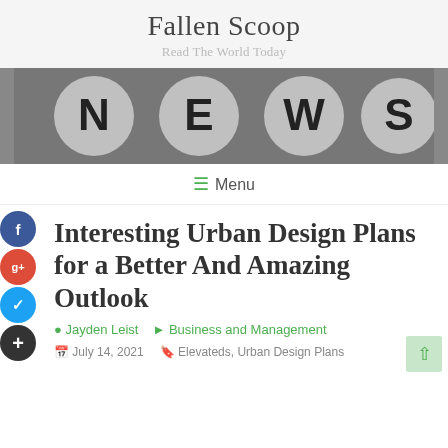Fallen Scoop
Read The World Today
[Figure (photo): NEWS letters on round tiles arranged in a row]
Menu
Interesting Urban Design Plans for a Better And Amazing Outlook
Jayden Leist   Business and Management
July 14, 2021   Elevateds, Urban Design Plans